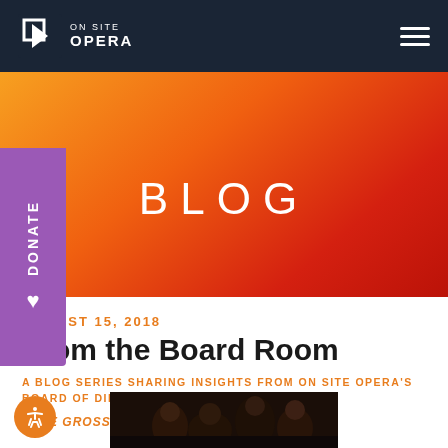On Site Opera — navigation bar with logo and hamburger menu
[Figure (other): Orange-to-red gradient hero banner with the word BLOG centered in white letters]
BLOG
Donate (sidebar tab with heart icon)
AUGUST 15, 2018
From the Board Room
A BLOG SERIES SHARING INSIGHTS FROM ON SITE OPERA'S BOARD OF DIRECTORS
JANE GROSS, BOARD PRESIDENT
[Figure (photo): Partial photo showing audience members or performers in a dark setting]